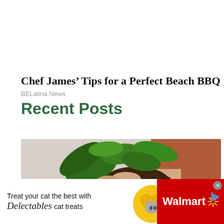Chef James’ Tips for a Perfect Beach BBQ
BELatina News
Recent Posts
[Figure (photo): Person holding a green leafy plant with soil/roots visible, wearing a rust-colored shirt, against a light background.]
[Figure (infographic): Walmart advertisement banner: 'Treat your cat the best with Delectables cat treats' with a cat image, yellow heart/circle graphic, and Walmart logo on red background.]